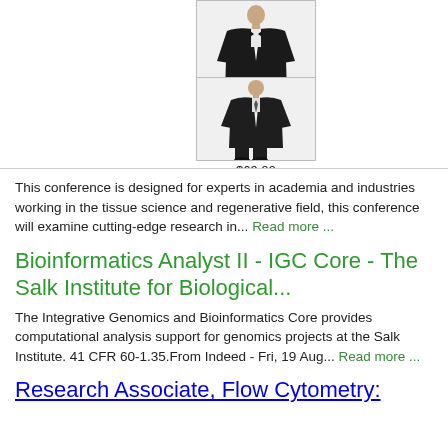[Figure (illustration): Product image of a man in a black tuxedo/suit, priced at $229.99]
$229.99
[Figure (illustration): Product image of a child/boy in a black suit, priced at $69.99]
$69.99
This conference is designed for experts in academia and industries working in the tissue science and regenerative field, this conference will examine cutting-edge research in... Read more ...
Bioinformatics Analyst II - IGC Core - The Salk Institute for Biological...
The Integrative Genomics and Bioinformatics Core provides computational analysis support for genomics projects at the Salk Institute. 41 CFR 60-1.35.From Indeed - Fri, 19 Aug... Read more ...
Research Associate, Flow Cytometry: